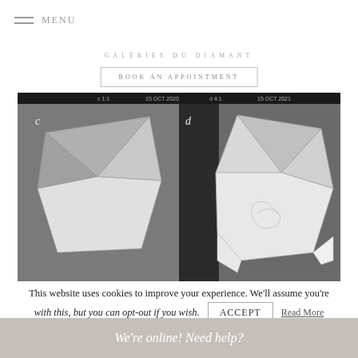MENU
GD
GALERIES DU DIAMANT
BOOK AN APPOINTMENT
[Figure (photo): Two black-and-white microscope images of rough diamonds labeled c and d, side by side on a dark background. Image c shows a triangular-faceted diamond crystal. Image d shows a more complex multi-faceted diamond crystal with visible surface markings.]
This website uses cookies to improve your experience. We'll assume you're with this, but you can opt-out if you wish.
ACCEPT
Read More
We're online! Need help?